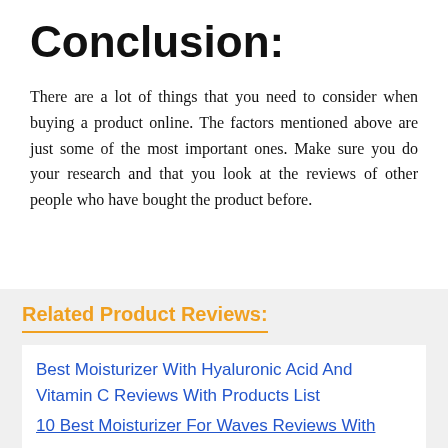Conclusion:
There are a lot of things that you need to consider when buying a product online. The factors mentioned above are just some of the most important ones. Make sure you do your research and that you look at the reviews of other people who have bought the product before.
Related Product Reviews:
Best Moisturizer With Hyaluronic Acid And Vitamin C Reviews With Products List
10 Best Moisturizer For Waves Reviews With